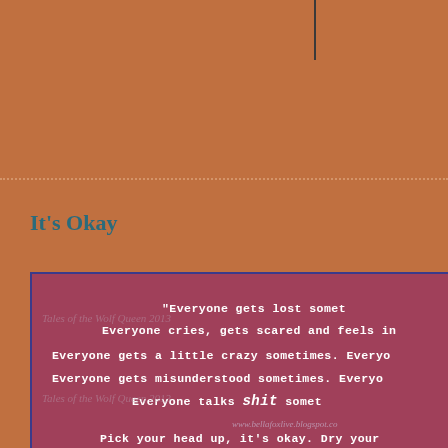It's Okay
[Figure (illustration): A pink/mauve textured background image with white monospace text overlaid, containing a motivational poem beginning with 'Everyone gets lost somet...' with watermark text 'Tales of the Wolf Queen 2013' and website 'www.bellafoxlive.blogspot.co']